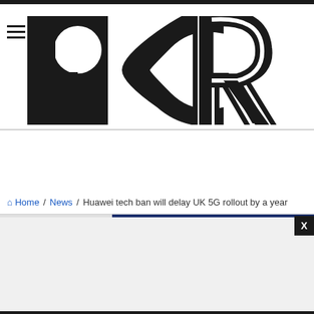[Figure (logo): PCR logo with large bold black letters P, C, R on white background, with hamburger menu icon on left]
Home / News / Huawei tech ban will delay UK 5G rollout by a year
[Figure (screenshot): Advertisement banner area with progress bar and X close button]